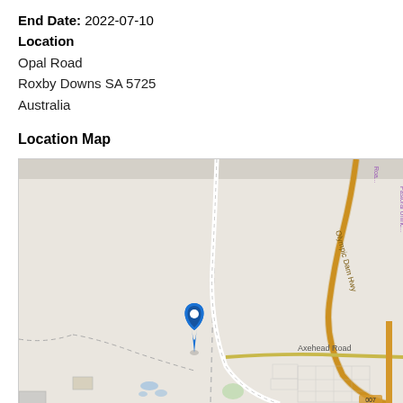End Date: 2022-07-10
Location
Opal Road
Roxby Downs SA 5725
Australia
Location Map
[Figure (map): Street map showing Opal Road area in Roxby Downs SA 5725, Australia. Map includes a blue location pin marker, zoom controls (+/-), a navigation/compass button (blue), a reset button (red), a 1 km scale bar, and road labels including Olympic Dam Hwy and Axehead Road. The map shows a mostly undeveloped area with some urban grid to the lower right.]